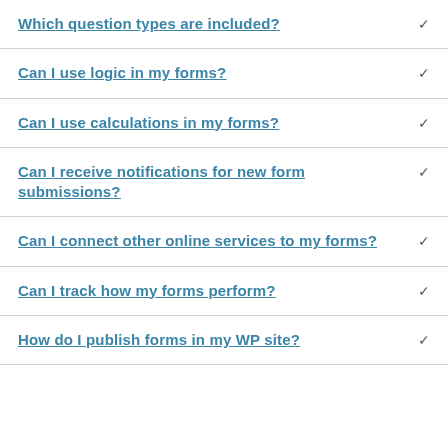Which question types are included?
Can I use logic in my forms?
Can I use calculations in my forms?
Can I receive notifications for new form submissions?
Can I connect other online services to my forms?
Can I track how my forms perform?
How do I publish forms in my WP site?